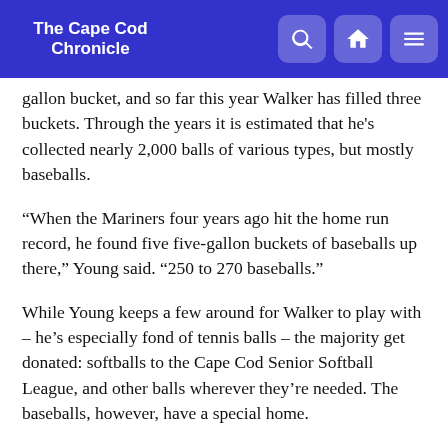The Cape Cod Chronicle
gallon bucket, and so far this year Walker has filled three buckets. Through the years it is estimated that he's collected nearly 2,000 balls of various types, but mostly baseballs.
“When the Mariners four years ago hit the home run record, he found five five-gallon buckets of baseballs up there,” Young said. “250 to 270 baseballs.”
While Young keeps a few around for Walker to play with – he's especially fond of tennis balls – the majority get donated: softballs to the Cape Cod Senior Softball League, and other balls wherever they're needed. The baseballs, however, have a special home.
“All the baseballs get donated to his favorite charity,